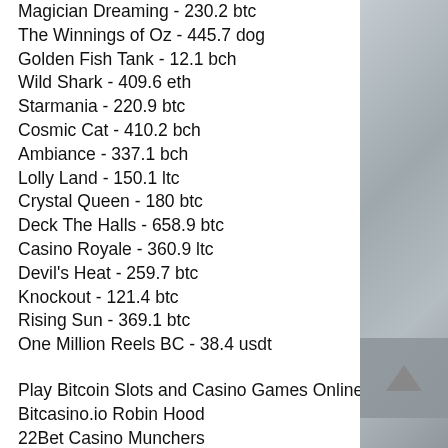Magician Dreaming - 230.2 btc
The Winnings of Oz - 445.7 dog
Golden Fish Tank - 12.1 bch
Wild Shark - 409.6 eth
Starmania - 220.9 btc
Cosmic Cat - 410.2 bch
Ambiance - 337.1 bch
Lolly Land - 150.1 ltc
Crystal Queen - 180 btc
Deck The Halls - 658.9 btc
Casino Royale - 360.9 ltc
Devil's Heat - 259.7 btc
Knockout - 121.4 btc
Rising Sun - 369.1 btc
One Million Reels BC - 38.4 usdt
Play Bitcoin Slots and Casino Games Online:
Bitcasino.io Robin Hood
22Bet Casino Munchers
BitcoinCasino.us Ramses Book Golden